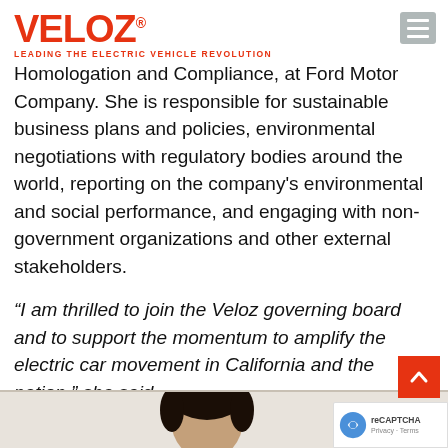VELOZ® LEADING THE ELECTRIC VEHICLE REVOLUTION
Homologation and Compliance, at Ford Motor Company. She is responsible for sustainable business plans and policies, environmental negotiations with regulatory bodies around the world, reporting on the company's environmental and social performance, and engaging with non-government organizations and other external stakeholders.
“I am thrilled to join the Veloz governing board and to support the momentum to amplify the electric car movement in California and the nation,” she said.
[Figure (photo): Photo of a person with dark hair, cropped at the bottom of the page, against a beige/light background.]